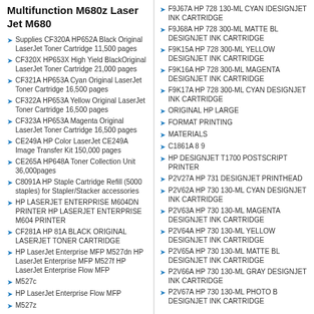Multifunction M680z Laser Jet M680
Supplies CF320A HP652A Black Original LaserJet Toner Cartridge 11,500 pages
CF320X HP653X High Yield BlackOriginal LaserJet Toner Cartridge 21,000 pages
CF321A HP653A Cyan Original LaserJet Toner Cartridge 16,500 pages
CF322A HP653A Yellow Original LaserJet Toner Cartridge 16,500 pages
CF323A HP653A Magenta Original LaserJet Toner Cartridge 16,500 pages
CE249A HP Color LaserJet CE249A Image Transfer Kit 150,000 pages
CE265A HP648A Toner Collection Unit 36,000pages
C8091A HP Staple Cartridge Refill (5000 staples) for Stapler/Stacker accessories
HP LASERJET ENTERPRISE M604DN PRINTER HP LASERJET ENTERPRISE M604 PRINTER
CF281A HP 81A BLACK ORIGINAL LASERJET TONER CARTRIDGE
HP LaserJet Enterprise MFP M527dn HP LaserJet Enterprise MFP M527f HP LaserJet Enterprise Flow MFP
M527c
HP LaserJet Enterprise Flow MFP
M527z
F9J67A HP 728 130-ML CYAN IDESIGNJET INK CARTRIDGE
F9J68A HP 728 300-ML MATTE BL DESIGNJET INK CARTRIDGE
F9K15A HP 728 300-ML YELLOW DESIGNJET INK CARTRIDGE
F9K16A HP 728 300-ML MAGENTA DESIGNJET INK CARTRIDGE
F9K17A HP 728 300-ML CYAN DESIGNJET INK CARTRIDGE
ORIGINAL HP LARGE
FORMAT PRINTING
MATERIALS
C1861A 8 9
HP DESIGNJET T1700 POSTSCRIPT PRINTER
P2V27A HP 731 DESIGNJET PRINTHEAD
P2V62A HP 730 130-ML CYAN DESIGNJET INK CARTRIDGE
P2V63A HP 730 130-ML MAGENTA DESIGNJET INK CARTRIDGE
P2V64A HP 730 130-ML YELLOW DESIGNJET INK CARTRIDGE
P2V65A HP 730 130-ML MATTE BL DESIGNJET INK CARTRIDGE
P2V66A HP 730 130-ML GRAY DESIGNJET INK CARTRIDGE
P2V67A HP 730 130-ML PHOTO B DESIGNJET INK CARTRIDGE